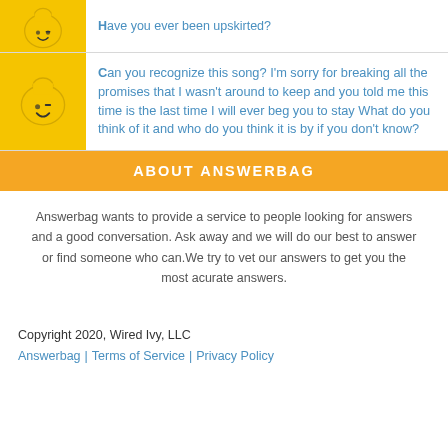Have you ever been upskirted?
Can you recognize this song? I'm sorry for breaking all the promises that I wasn't around to keep and you told me this time is the last time I will ever beg you to stay What do you think of it and who do you think it is by if you don't know?
ABOUT ANSWERBAG
Answerbag wants to provide a service to people looking for answers and a good conversation. Ask away and we will do our best to answer or find someone who can. We try to vet our answers to get you the most acurate answers.
Copyright 2020, Wired Ivy, LLC
Answerbag | Terms of Service | Privacy Policy